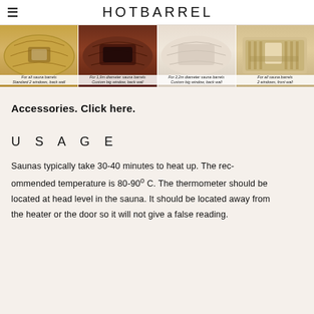HOTBARREL
[Figure (photo): Four sauna barrel product images with captions: 'For all sauna barrels Standard 2 windows, back wall', 'For 1,9m diameter sauna barrels Custom big window, back wall', 'For 2,2m diameter sauna barrels Custom big window, back wall', 'For all sauna barrels 2 windows, front wall']
Accessories. Click here.
USAGE
Saunas typically take 30-40 minutes to heat up. The recommended temperature is 80-90° C. The thermometer should be located at head level in the sauna. It should be located away from the heater or the door so it will not give a false reading.